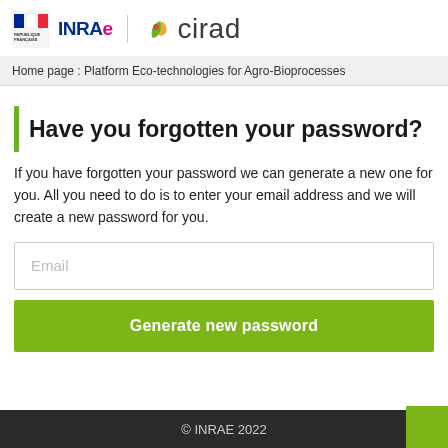REPUBLIQUE FRANÇAISE | INRAE | cirad
Home page : Platform Eco-technologies for Agro-Bioprocesses
Have you forgotten your password?
If you have forgotten your password we can generate a new one for you. All you need to do is to enter your email address and we will create a new password for you.
Email
Generate new password
© INRAE 2022